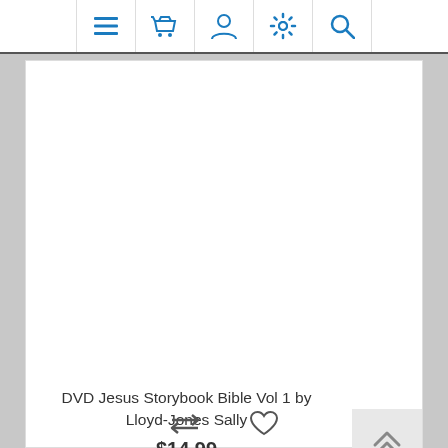[Figure (screenshot): Website navigation bar with icons: hamburger menu, shopping basket, user profile, settings gear, and search magnifier — all in blue on white background]
[Figure (photo): Product image area (blank white space) for DVD Jesus Storybook Bible Vol 1]
DVD Jesus Storybook Bible Vol 1 by Lloyd-Jones Sally
$14.99
[Figure (other): Back to top button with double up-chevron arrows on light gray background]
[Figure (other): Bottom action icons: compare arrows and heart/wishlist icon]